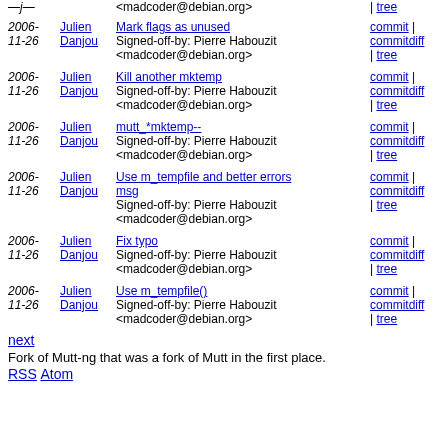2006-11-26 Julien Danjou — <madcoder@debian.org> | tree
2006-11-26 Julien Danjou — Mark flags as unused Signed-off-by: Pierre Habouzit <madcoder@debian.org> | commit | commitdiff | tree
2006-11-26 Julien Danjou — Kill another mktemp Signed-off-by: Pierre Habouzit <madcoder@debian.org> | commit | commitdiff | tree
2006-11-26 Julien Danjou — mutt_*mktemp-- Signed-off-by: Pierre Habouzit <madcoder@debian.org> | commit | commitdiff | tree
2006-11-26 Julien Danjou — Use m_tempfile and better errors msg Signed-off-by: Pierre Habouzit <madcoder@debian.org> | commit | commitdiff | tree
2006-11-26 Julien Danjou — Fix typo Signed-off-by: Pierre Habouzit <madcoder@debian.org> | commit | commitdiff | tree
2006-11-26 Julien Danjou — Use m_tempfile() Signed-off-by: Pierre Habouzit <madcoder@debian.org> | commit | commitdiff | tree
next
Fork of Mutt-ng that was a fork of Mutt in the first place.
RSS Atom